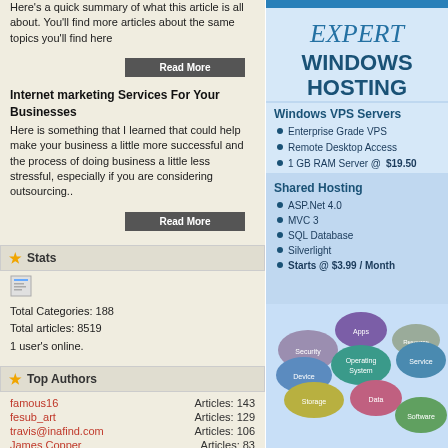Here's a quick summary of what this article is all about. You'll find more articles about the same topics you'll find here
Read More
Internet marketing Services For Your Businesses
Here is something that I learned that could help make your business a little more successful and the process of doing business a little less stressful, especially if you are considering outsourcing..
Read More
Stats
[Figure (photo): Small document/image icon]
Total Categories: 188
Total articles: 8519
1 user's online.
Top Authors
famous16   Articles: 143
fesub_art   Articles: 129
travis@inafind.com   Articles: 106
James Copper   Articles: 83
anne00   Articles: 51
[Figure (infographic): Expert Windows Hosting advertisement with cloud computing bubble diagram showing Apps, Security, Device, Operating System, Service, Storage, Data, Software, Resource topics. Windows VPS Servers and Shared Hosting plans listed.]